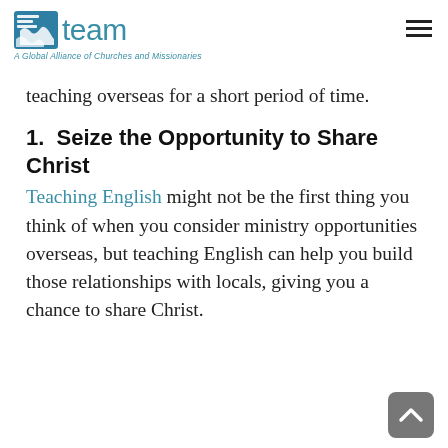team — A Global Alliance of Churches and Missionaries
teaching overseas for a short period of time.
1.  Seize the Opportunity to Share Christ
Teaching English might not be the first thing you think of when you consider ministry opportunities overseas, but teaching English can help you build those relationships with locals, giving you a chance to share Christ.